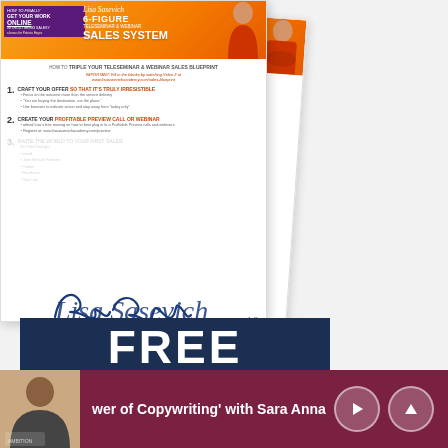[Figure (illustration): Promotional screenshot/mockup of Lisa Sasevich's 6-Figure Teleseminar & Webinar Sales System document, showing two overlapping pages with orange branded header and a free webinar sales blueprint with numbered steps. A blue handwritten-style signature 'Lisa Sasevich' overlays the document pages.]
FREE
WEBINAR SALES
wer of Copywriting' with Sara Anna